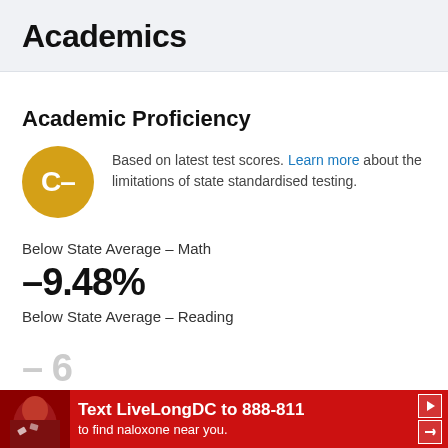Academics
Academic Proficiency
[Figure (infographic): Gold circle badge showing grade C- indicating academic proficiency rating]
Based on latest test scores. Learn more about the limitations of state standardised testing.
Below State Average – Math
-9.48%
Below State Average – Reading
[Figure (infographic): Advertisement banner: Text LiveLongDC to 888-811 to find naloxone near you.]